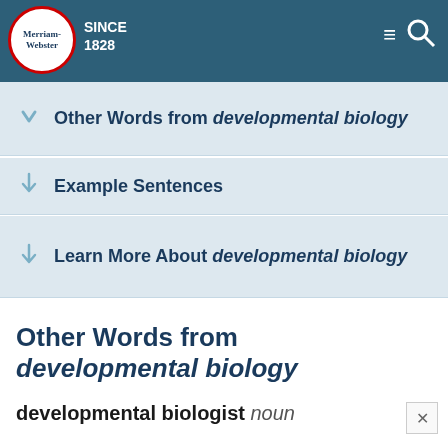Merriam-Webster SINCE 1828
Other Words from developmental biology
Example Sentences
Learn More About developmental biology
Other Words from developmental biology
developmental biologist noun